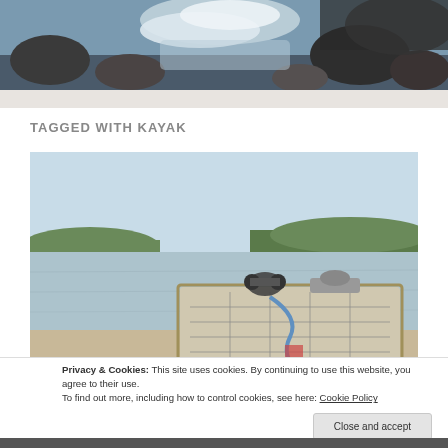[Figure (photo): Header photo of a waterfall with rocky surroundings and rushing water]
TAGGED WITH KAYAK
[Figure (photo): Photo of a kayaker's perspective with a map on a clipboard in the foreground and a wide calm river with green tree-lined shores in the background]
Privacy & Cookies: This site uses cookies. By continuing to use this website, you agree to their use.
To find out more, including how to control cookies, see here: Cookie Policy
Close and accept